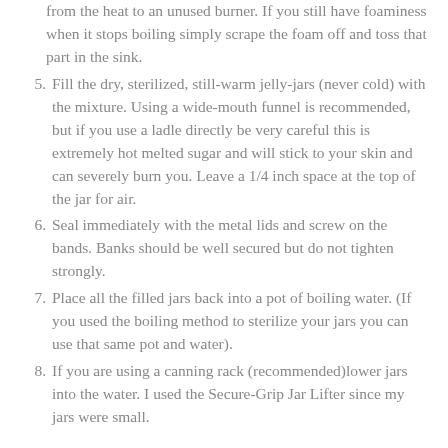from the heat to an unused burner. If you still have foaminess when it stops boiling simply scrape the foam off and toss that part in the sink.
5. Fill the dry, sterilized, still-warm jelly-jars (never cold) with the mixture. Using a wide-mouth funnel is recommended, but if you use a ladle directly be very careful this is extremely hot melted sugar and will stick to your skin and can severely burn you. Leave a 1/4 inch space at the top of the jar for air.
6. Seal immediately with the metal lids and screw on the bands. Banks should be well secured but do not tighten strongly.
7. Place all the filled jars back into a pot of boiling water. (If you used the boiling method to sterilize your jars you can use that same pot and water).
8. If you are using a canning rack (recommended)lower jars into the water. I used the Secure-Grip Jar Lifter since my jars were small.